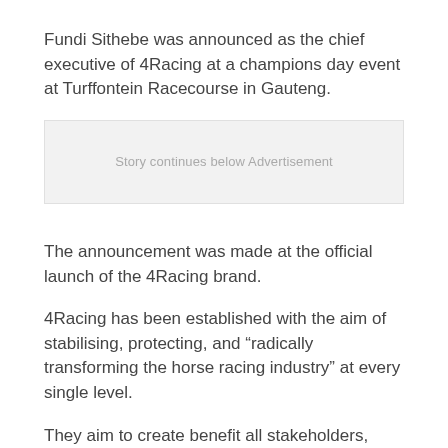Fundi Sithebe was announced as the chief executive of 4Racing at a champions day event at Turffontein Racecourse in Gauteng.
[Figure (other): Advertisement placeholder box with text 'Story continues below Advertisement']
The announcement was made at the official launch of the 4Racing brand.
4Racing has been established with the aim of stabilising, protecting, and “radically transforming the horse racing industry” at every single level.
They aim to create benefit all stakeholders, starting with the workforce of racing.